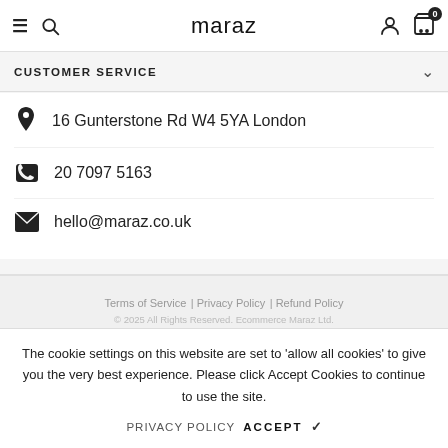maraz
CUSTOMER SERVICE
16 Gunterstone Rd W4 5YA London
20 7097 5163
hello@maraz.co.uk
Terms of Service | Privacy Policy | Refund Policy
© 2025 All Rights Reserved. Ecommerce Maraz Ltd.
The cookie settings on this website are set to 'allow all cookies' to give you the very best experience. Please click Accept Cookies to continue to use the site.
PRIVACY POLICY   ACCEPT ✔